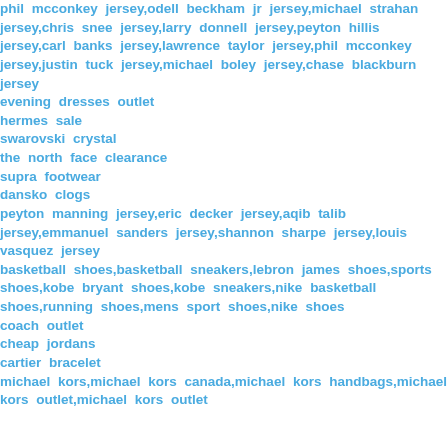phil mcconkey jersey,odell beckham jr jersey,michael strahan jersey,chris snee jersey,larry donnell jersey,peyton hillis jersey,carl banks jersey,lawrence taylor jersey,phil mcconkey jersey,justin tuck jersey,michael boley jersey,chase blackburn jersey
evening dresses outlet
hermes sale
swarovski crystal
the north face clearance
supra footwear
dansko clogs
peyton manning jersey,eric decker jersey,aqib talib jersey,emmanuel sanders jersey,shannon sharpe jersey,louis vasquez jersey
basketball shoes,basketball sneakers,lebron james shoes,sports shoes,kobe bryant shoes,kobe sneakers,nike basketball shoes,running shoes,mens sport shoes,nike shoes
coach outlet
cheap jordans
cartier bracelet
michael kors,michael kors canada,michael kors handbags,michael kors outlet,michael kors outlet